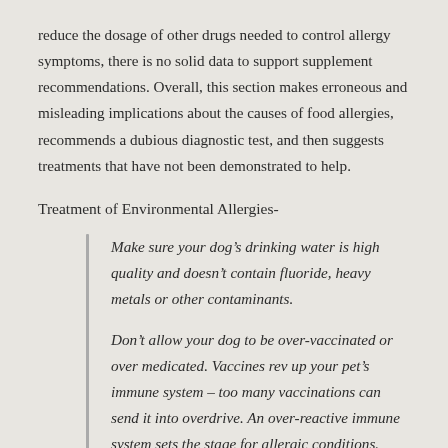reduce the dosage of other drugs needed to control allergy symptoms, there is no solid data to support supplement recommendations. Overall, this section makes erroneous and misleading implications about the causes of food allergies, recommends a dubious diagnostic test, and then suggests treatments that have not been demonstrated to help.
Treatment of Environmental Allergies-
Make sure your dog’s drinking water is high quality and doesn’t contain fluoride, heavy metals or other contaminants.
Don’t allow your dog to be over-vaccinated or over medicated. Vaccines rev up your pet’s immune system – too many vaccinations can send it into overdrive. An over-reactive immune system sets the stage for allergic conditions.